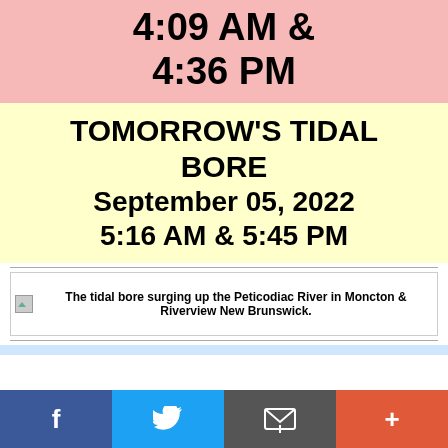4:09 AM & 4:36 PM
TOMORROW'S TIDAL BORE
September 05, 2022
5:16 AM & 5:45 PM
[Figure (photo): The tidal bore surging up the Peticodiac River in Moncton & Riverview New Brunswick.]
The tidal bore surging up the Peticodiac River in Moncton & Riverview New Brunswick.